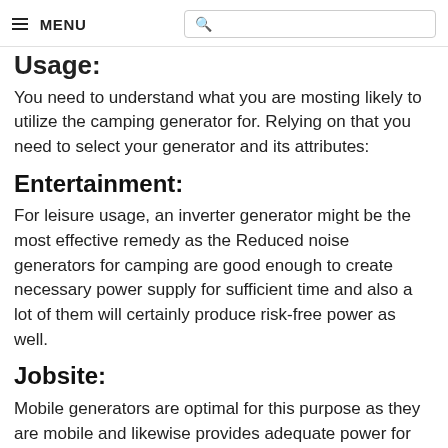≡ MENU  [search box]
Usage:
You need to understand what you are mosting likely to utilize the camping generator for. Relying on that you need to select your generator and its attributes:
Entertainment:
For leisure usage, an inverter generator might be the most effective remedy as the Reduced noise generators for camping are good enough to create necessary power supply for sufficient time and also a lot of them will certainly produce risk-free power as well.
Jobsite:
Mobile generators are optimal for this purpose as they are mobile and likewise provides adequate power for